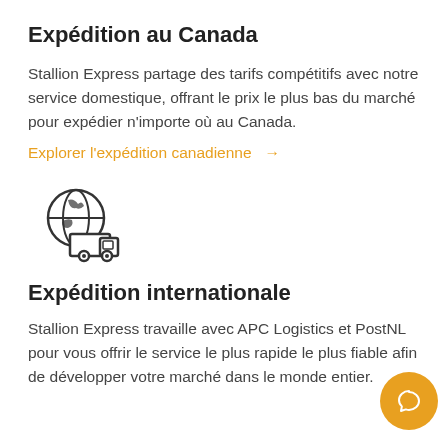Expédition au Canada
Stallion Express partage des tarifs compétitifs avec notre service domestique, offrant le prix le plus bas du marché pour expédier n'importe où au Canada.
Explorer l'expédition canadienne →
[Figure (illustration): Globe and delivery truck icon representing international shipping]
Expédition internationale
Stallion Express travaille avec APC Logistics et PostNL pour vous offrir le service le plus rapide le plus fiable afin de développer votre marché dans le monde entier.